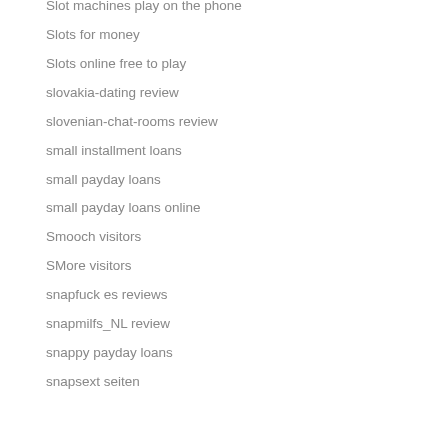Slot machines play on the phone
Slots for money
Slots online free to play
slovakia-dating review
slovenian-chat-rooms review
small installment loans
small payday loans
small payday loans online
Smooch visitors
SMore visitors
snapfuck es reviews
snapmilfs_NL review
snappy payday loans
snapsext seiten